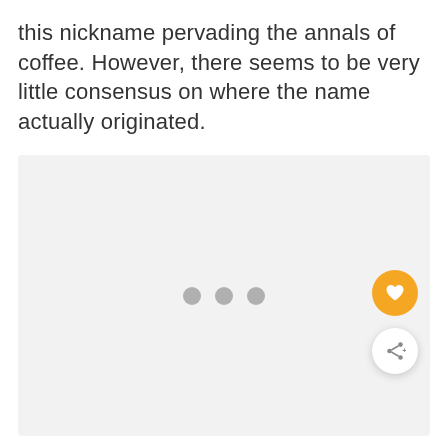this nickname pervading the annals of coffee. However, there seems to be very little consensus on where the name actually originated.
[Figure (other): Large light gray placeholder image area with three gray dots centered, and two floating action buttons on the right: an orange heart/favorite button and a white share button.]